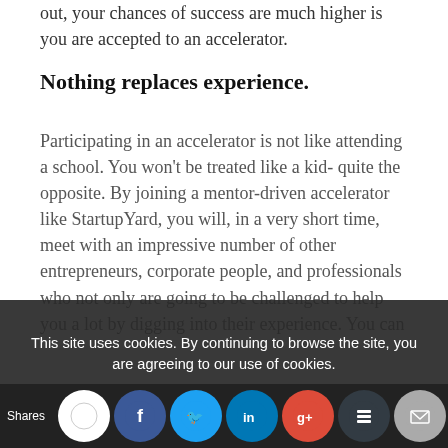out, your chances of success are much higher is you are accepted to an accelerator.
Nothing replaces experience.
Participating in an accelerator is not like attending a school. You won't be treated like a kid- quite the opposite. By joining a mentor-driven accelerator like StartupYard, you will, in a very short time, meet with an impressive number of other entrepreneurs, corporate people, and professionals who not only are going to be challenged to help you a lot by digging into their experience. You can
This site uses cookies. By continuing to browse the site, you are agreeing to our use of cookies.
OK
Shares